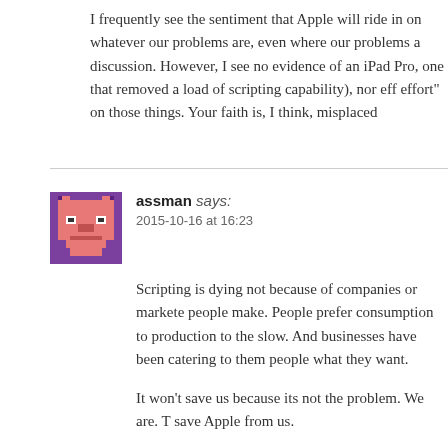I frequently see the sentiment that Apple will ride in on whatever our problems are, even where our problems are the discussion. However, I see no evidence of an iPad Pro, one that removed a load of scripting capability), nor effort on those things. Your faith is, I think, misplaced
assman says:
2015-10-16 at 16:23
Scripting is dying not because of companies or markete people make. People prefer consumption to production to the slow. And businesses have been catering to them people what they want.
It won't save us because its not the problem. We are. T save Apple from us.